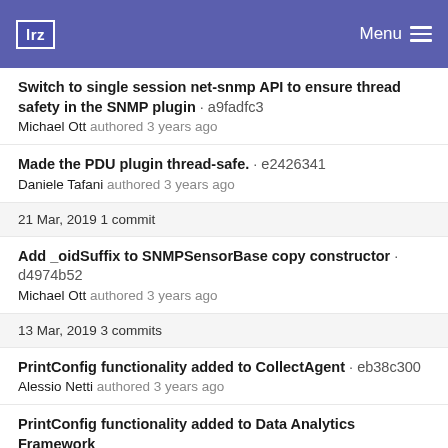lrz   Menu
Switch to single session net-snmp API to ensure thread safety in the SNMP plugin · a9fadfc3
Michael Ott authored 3 years ago
Made the PDU plugin thread-safe. · e2426341
Daniele Tafani authored 3 years ago
21 Mar, 2019 1 commit
Add _oidSuffix to SNMPSensorBase copy constructor · d4974b52
Michael Ott authored 3 years ago
13 Mar, 2019 3 commits
PrintConfig functionality added to CollectAgent · eb38c300
Alessio Netti authored 3 years ago
PrintConfig functionality added to Data Analytics Framework · 88f3104f ...